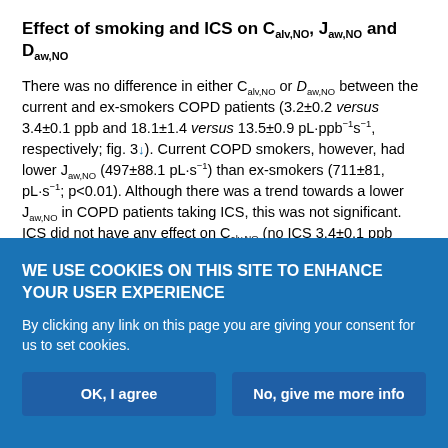Effect of smoking and ICS on Calv,NO, Jaw,NO and Daw,NO
There was no difference in either Calv,NO or Daw,NO between the current and ex-smokers COPD patients (3.2±0.2 versus 3.4±0.1 ppb and 18.1±1.4 versus 13.5±0.9 pL·ppb−1s−1, respectively; fig. 3↓). Current COPD smokers, however, had lower Jaw,NO (497±88.1 pL·s−1) than ex-smokers (711±81, pL·s−1; p<0.01). Although there was a trend towards a lower Jaw,NO in COPD patients taking ICS, this was not significant. ICS did not have any effect on Calv,NO (no ICS 3.4±0.1 ppb versus treatment with ICS 3.3±0.2; p>0.05), nor on Daw,NO (no ICS 14±0.1 versus treatment with ICS 17±1.4 pL
WE USE COOKIES ON THIS SITE TO ENHANCE YOUR USER EXPERIENCE
By clicking any link on this page you are giving your consent for us to set cookies.